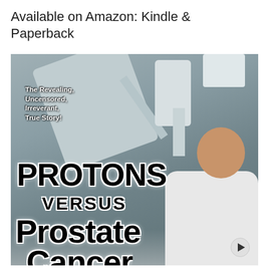Available on Amazon: Kindle & Paperback
[Figure (photo): Book cover for 'Protons Versus Prostate Cancer' showing a medical radiation therapy machine in the background, a man smiling on the right side, and bold text overlay. Subtitle reads 'The Revealing, Uncensored, Irreverant, True Story!']